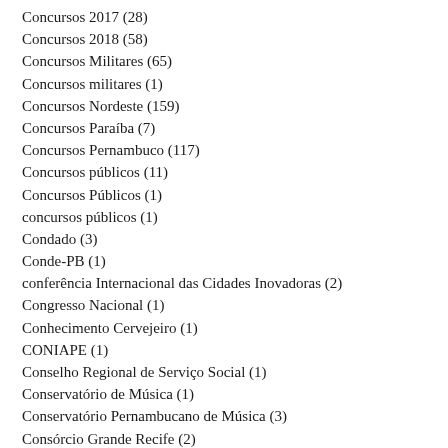Concursos 2017 (28)
Concursos 2018 (58)
Concursos Militares (65)
Concursos militares (1)
Concursos Nordeste (159)
Concursos Paraíba (7)
Concursos Pernambuco (117)
Concursos públicos (11)
Concursos Públicos (1)
concursos públicos (1)
Condado (3)
Conde-PB (1)
conferência Internacional das Cidades Inovadoras (2)
Congresso Nacional (1)
Conhecimento Cervejeiro (1)
CONIAPE (1)
Conselho Regional de Serviço Social (1)
Conservatório de Música (1)
Conservatório Pernambucano de Música (3)
Consórcio Grande Recife (2)
Consórcio Nordeste (1)
Constituição da República Federativa do Brasil (1)